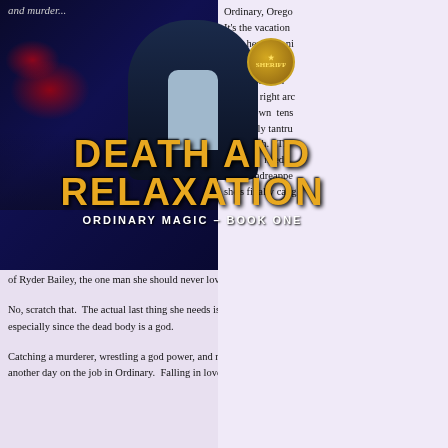[Figure (illustration): Book cover for 'Death and Relaxation: Ordinary Magic - Book One'. Shows a female figure in a dark leather jacket with a sheriff's badge, blue and red dramatic lighting, police car lights in background. Title text in large orange/yellow bold font at bottom of cover.]
Ordinary, Oregon… It’s the vacation that keep her up at ni…
With the fam… Festival right arc… small-town tens… and godly tantru… time high. Th… Delaney needs… boyfriend reappe… she’s finally caug…
of Ryder Bailey, the one man she should never love.
No, scratch that. The actual last thing she needs is a dead body w… especially since the dead body is a god.
Catching a murderer, wrestling a god power, and re-scheduling the a… another day on the job in Ordinary. Falling in love with her childh…